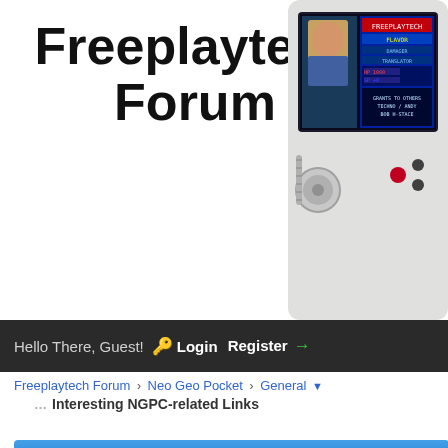Freeplaytech Forum
[Figure (screenshot): Screenshot of a handheld gaming device (Neo Geo Pocket Color) showing a game screen with a character and game stats]
Hello There, Guest! Login Register
Freeplaytech Forum › Neo Geo Pocket › General
Interesting NGPC-related Links
Interesting NGPC-related Links
[Figure (screenshot): User avatar showing a game character card (Flavor) with HP 1000 and SP stats from a Neo Geo Pocket game]
02-18-2012, 03:18 AM (This post was last modified: 02-
I'll start this off with this site I found a wee
http://startorcontinue.com/tagged/neo-ge
It's got a collection of animated game sta
Flavor